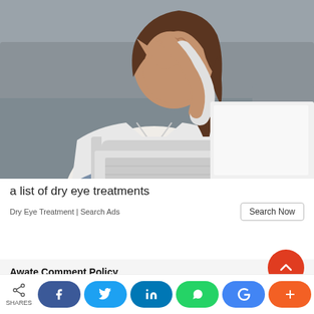[Figure (photo): Woman sitting on a grey couch with a laptop, rubbing her eye with one hand, wearing a white shirt and jeans.]
a list of dry eye treatments
Dry Eye Treatment | Search Ads
Search Now
Awate Comment Policy
SHARES | Facebook | Twitter | LinkedIn | WhatsApp | Google | Plus